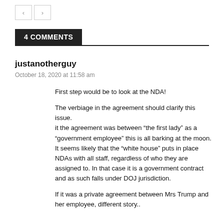< >
4 COMMENTS
justanotherguy
October 18, 2020 at 11:58 am
First step would be to look at the NDA!

The verbiage in the agreement should clarify this issue.
it the agreement was between “the first lady” as a “government employee” this is all barking at the moon. It seems likely that the “white house” puts in place NDAs with all staff, regardless of who they are assigned to. In that case it is a government contract and as such falls under DOJ jurisdiction.

If it was a private agreement between Mrs Trump and her employee, different story..